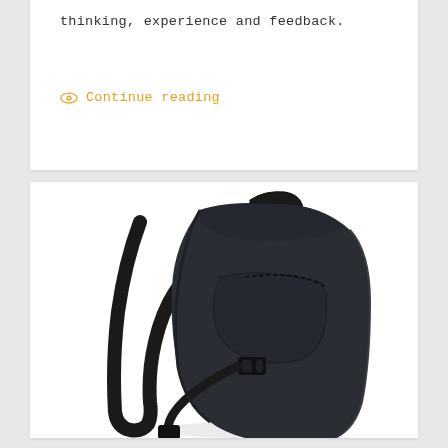thinking, experience and feedback.
Continue reading
[Figure (photo): A black backpack shown from a three-quarter rear angle, featuring angular minimalist design, a top handle, diagonal front zipper pocket, adjustable shoulder straps with buckle, on a white background.]